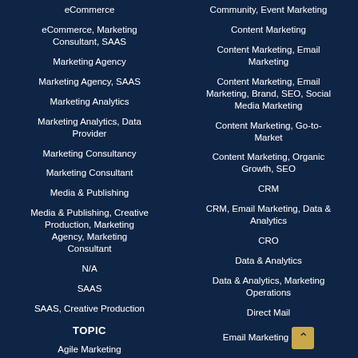eCommerce
eCommerce, Marketing Consultant, SAAS
Marketing Agency
Marketing Agency, SAAS
Marketing Analytics
Marketing Analytics, Data Provider
Marketing Consultancy
Marketing Consultant
Media & Publishing
Media & Publishing, Creative Production, Marketing Agency, Marketing Consultant
N/A
SAAS
SAAS, Creative Production
TOPIC
Agile Marketing
Community, Event Marketing
Content Marketing
Content Marketing, Email Marketing
Content Marketing, Email Marketing, Brand, SEO, Social Media Marketing
Content Marketing, Go-to-Market
Content Marketing, Organic Growth, SEO
CRM
CRM, Email Marketing, Data & Analytics
CRO
Data & Analytics
Data & Analytics, Marketing Operations
Direct Mail
Email Marketing
Email Marketing, Content Marketing, Social Media Marketing